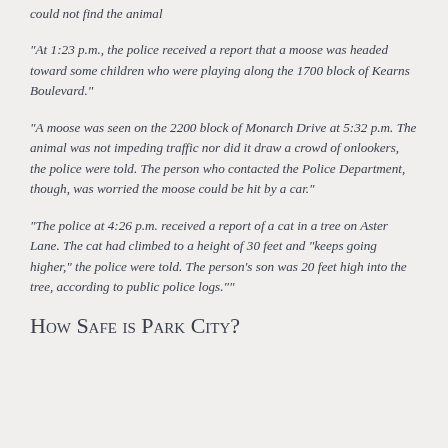could not find the animal
“At 1:23 p.m., the police received a report that a moose was headed toward some children who were playing along the 1700 block of Kearns Boulevard.”
“A moose was seen on the 2200 block of Monarch Drive at 5:32 p.m. The animal was not impeding traffic nor did it draw a crowd of onlookers, the police were told. The person who contacted the Police Department, though, was worried the moose could be hit by a car.”
“The police at 4:26 p.m. received a report of a cat in a tree on Aster Lane. The cat had climbed to a height of 30 feet and “keeps going higher,” the police were told. The person’s son was 20 feet high into the tree, according to public police logs.””
How Safe is Park City?